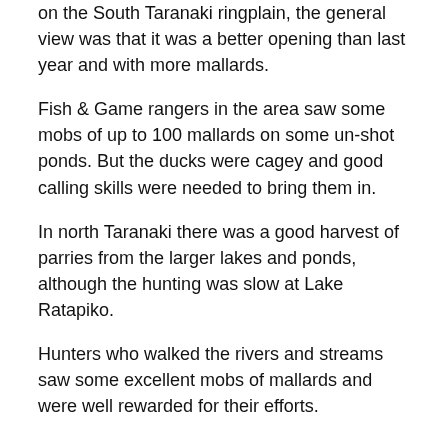on the South Taranaki ringplain, the general view was that it was a better opening than last year and with more mallards.
Fish & Game rangers in the area saw some mobs of up to 100 mallards on some un-shot ponds. But the ducks were cagey and good calling skills were needed to bring them in.
In north Taranaki there was a good harvest of parries from the larger lakes and ponds, although the hunting was slow at Lake Ratapiko.
Hunters who walked the rivers and streams saw some excellent mobs of mallards and were well rewarded for their efforts.
Toeing the line
Most of the hunters checked by Fish & Game rangers were well behaved, licenced, using steel shot as required and sticking to bag limits.
However rangers seized eight shotguns from hunters in the Turakina area for a mixture of no licence and lead shot